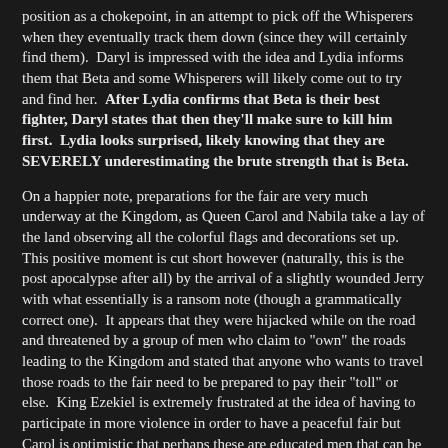position as a chokepoint, in an attempt to pick off the Whisperers when they eventually track them down (since they will certainly find them). Daryl is impressed with the idea and Lydia informs them that Beta and some Whisperers will likely come out to try and find her. After Lydia confirms that Beta is their best fighter, Daryl states that then they'll make sure to kill him first. Lydia looks surprised, likely knowing that they are SEVERELY underestimating the brute strength that is Beta.
On a happier note, preparations for the fair are very much underway at the Kingdom, as Queen Carol and Nabila take a lay of the land observing all the colorful flags and decorations set up. This positive moment is cut short however (naturally, this is the post apocalypse after all) by the arrival of a slightly wounded Jerry with what essentially is a ransom note (though a grammatically correct one). It appears that they were hijacked while on the road and threatened by a group of men who claim to "own" the roads leading to the Kingdom and stated that anyone who wants to travel those roads to the fair need to be prepared to pay their "toll" or else. King Ezekiel is extremely frustrated at the idea of having to participate in more violence in order to have a peaceful fair but Carol is optimistic that perhaps these are educated men that can be reasoned with. This is different for Carol right? On that note...